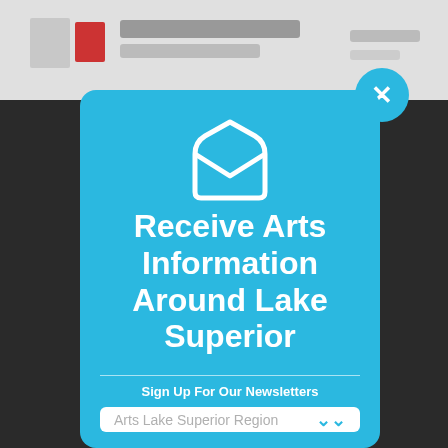[Figure (screenshot): Website header with Lake Superior News logo on grey background]
[Figure (infographic): Newsletter signup modal popup with light blue background, envelope icon, title text, divider, sign up label, and dropdown]
Receive Arts Information Around Lake Superior
Sign Up For Our Newsletters
Arts Lake Superior Region